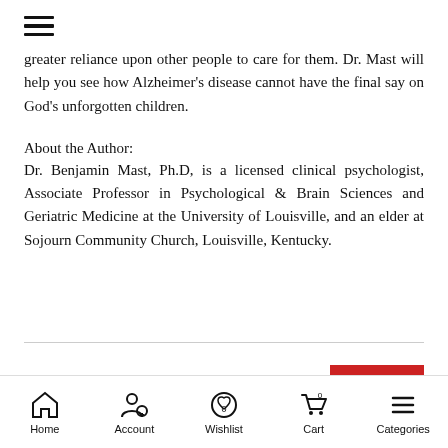Navigation menu (hamburger icon)
greater reliance upon other people to care for them. Dr. Mast will help you see how Alzheimer's disease cannot have the final say on God's unforgotten children.
About the Author:
Dr. Benjamin Mast, Ph.D, is a licensed clinical psychologist, Associate Professor in Psychological & Brain Sciences and Geriatric Medicine at the University of Louisville, and an elder at Sojourn Community Church, Louisville, Kentucky.
Best Sellers
Home  Account  Wishlist  Cart  Categories